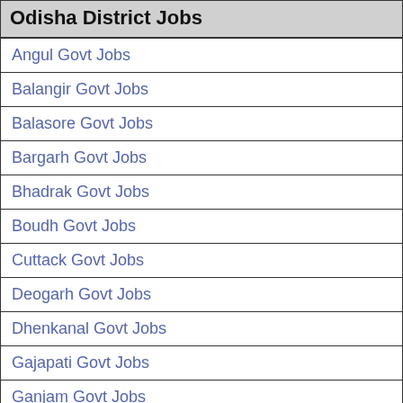Odisha District Jobs
Angul Govt Jobs
Balangir Govt Jobs
Balasore Govt Jobs
Bargarh Govt Jobs
Bhadrak Govt Jobs
Boudh Govt Jobs
Cuttack Govt Jobs
Deogarh Govt Jobs
Dhenkanal Govt Jobs
Gajapati Govt Jobs
Ganjam Govt Jobs